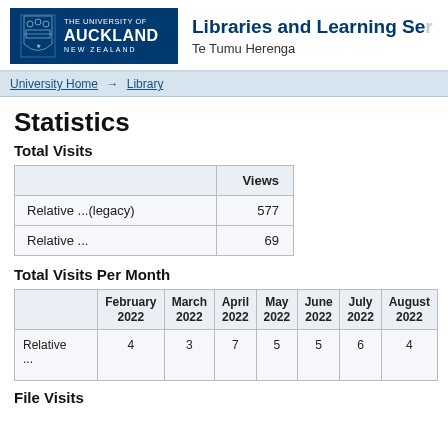THE UNIVERSITY OF AUCKLAND NEW ZEALAND — Libraries and Learning Services Te Tumu Herenga
University Home → Library
Statistics
Total Visits
|  | Views |
| --- | --- |
| Relative ...(legacy) | 577 |
| Relative ... | 69 |
Total Visits Per Month
|  | February 2022 | March 2022 | April 2022 | May 2022 | June 2022 | July 2022 | August 2022 |
| --- | --- | --- | --- | --- | --- | --- | --- |
| Relative ... | 4 | 3 | 7 | 5 | 5 | 6 | 4 |
File Visits